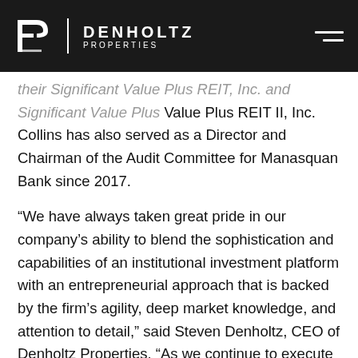[Figure (logo): Denholtz Properties logo with stylized D-P icon, white vertical divider, and text 'DENHOLTZ PROPERTIES' on dark background, with hamburger menu icon on right]
their Significant Value Plus REIT, Inc. and Significant Value Plus REIT II, Inc. Collins has also served as a Director and Chairman of the Audit Committee for Manasquan Bank since 2017.
“We have always taken great pride in our company’s ability to blend the sophistication and capabilities of an institutional investment platform with an entrepreneurial approach that is backed by the firm’s agility, deep market knowledge, and attention to detail,” said Steven Denholtz, CEO of Denholtz Properties. “As we continue to execute our growth plans, we are confident that Jenniffer’s experience and leadership will enable us to build on this legacy